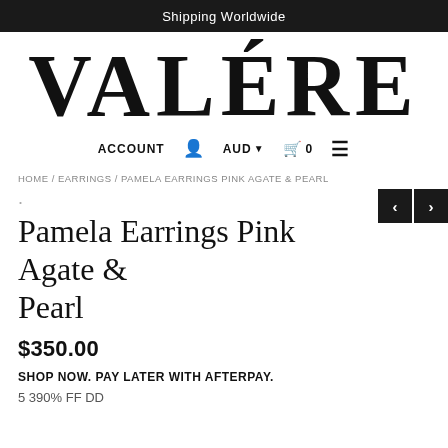Shipping Worldwide
VALÉRE
ACCOUNT  AUD  0  ☰
HOME / EARRINGS / PAMELA EARRINGS PINK AGATE & PEARL
Pamela Earrings Pink Agate & Pearl
$350.00
SHOP NOW. PAY LATER WITH AFTERPAY.
5 390% FF DD